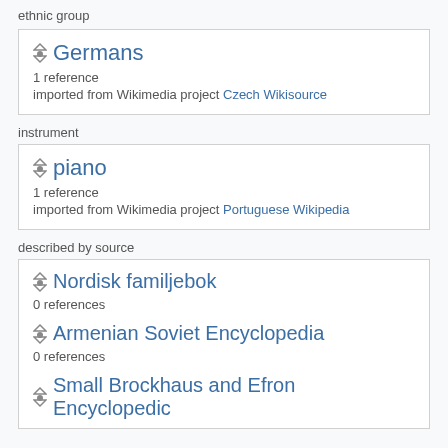ethnic group
Germans
1 reference
imported from Wikimedia project Czech Wikisource
instrument
piano
1 reference
imported from Wikimedia project Portuguese Wikipedia
described by source
Nordisk familjebok
0 references
Armenian Soviet Encyclopedia
0 references
Small Brockhaus and Efron Encyclopedic